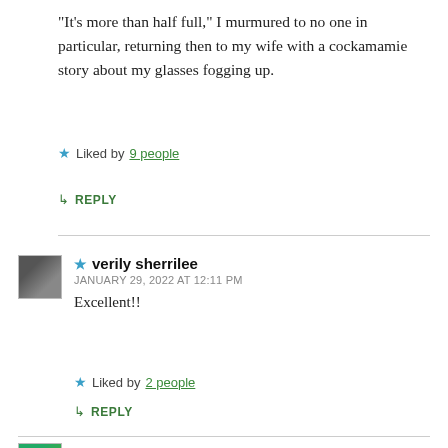“It’s more than half full,” I murmured to no one in particular, returning then to my wife with a cockamamie story about my glasses fogging up.
★ Liked by 9 people
↪ REPLY
★ verily sherrilee
JANUARY 29, 2022 AT 12:11 PM
Excellent!!
★ Liked by 2 people
↪ REPLY
Jacque